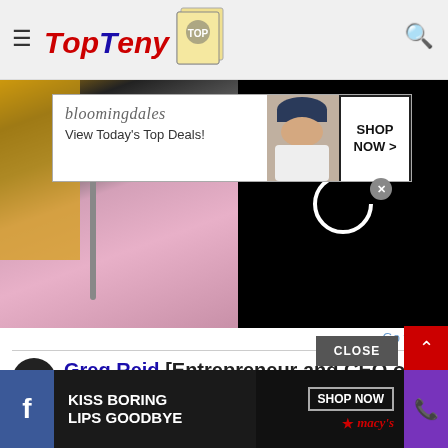[Figure (screenshot): TopTeny website header with hamburger menu icon, TopTeny logo with magazine image, and search icon]
[Figure (photo): Website page showing a woman in a pink dress on stage with a dark video loading panel on the right showing a spinner circle]
[Figure (screenshot): Bloomingdales advertisement overlay: 'bloomingdales View Today's Top Deals! SHOP NOW >']
Go to top
Greg Reid [Entrepreneur and CEO of several successful comp...
[Figure (screenshot): Bottom advertisement bar: Facebook icon, 'KISS BORING LIPS GOODBYE', SHOP NOW button, Macy's star logo, phone icon in purple]